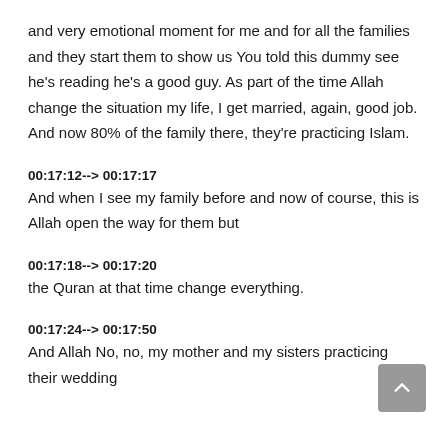and very emotional moment for me and for all the families and they start them to show us You told this dummy see he's reading he's a good guy. As part of the time Allah change the situation my life, I get married, again, good job. And now 80% of the family there, they're practicing Islam.
00:17:12--> 00:17:17
And when I see my family before and now of course, this is Allah open the way for them but
00:17:18--> 00:17:20
the Quran at that time change everything.
00:17:24--> 00:17:50
And Allah No, no, my mother and my sisters practicing their wedding